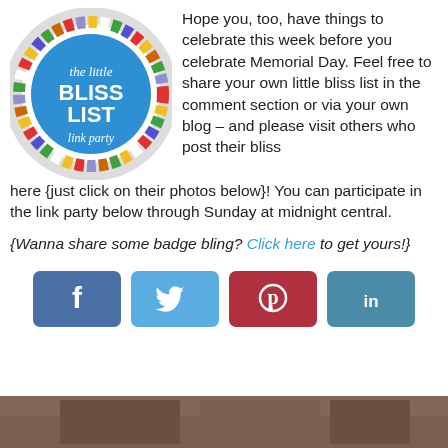[Figure (logo): The little BLISS LIST link party circular badge logo with colorful mosaic border on blue circle]
Hope you, too, have things to celebrate this week before you celebrate Memorial Day. Feel free to share your own little bliss list in the comment section or via your own blog – and please visit others who post their bliss here {just click on their photos below}! You can participate in the link party below through Sunday at midnight central.
{Wanna share some badge bling? Click here to get yours!}
[Figure (infographic): Social sharing buttons: Facebook (dark blue), Twitter (light blue), Pinterest (dark red), LinkedIn (teal blue)]
[Figure (photo): Partial photo visible at bottom of page]